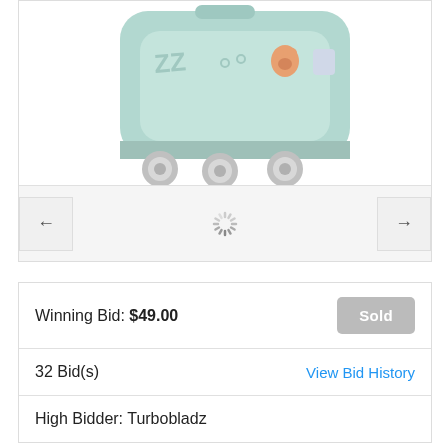[Figure (photo): A mint/light-teal colored children's ride-on suitcase/luggage with wheels, showing decorative stickers and text 'ZZ' on the front, viewed from a slight angle showing the wheels and handle area. Navigation arrows (left and right) and a loading spinner are visible below the product image.]
| Winning Bid: $49.00 | Sold |
| 32 Bid(s) | View Bid History |
| High Bidder: Turbobladz |  |